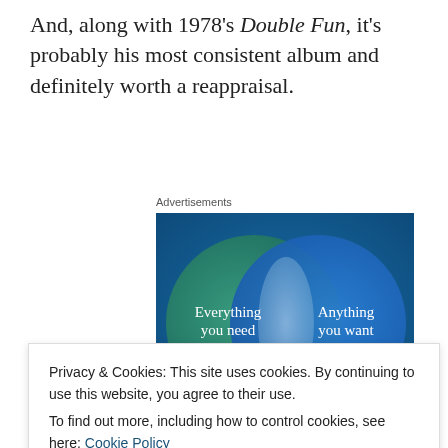And, along with 1978's Double Fun, it's probably his most consistent album and definitely worth a reappraisal.
Advertisements
[Figure (infographic): Venn diagram advertisement showing two overlapping circles on a blue/teal background. Left circle (teal/green) labeled 'Everything you need', right circle (blue) labeled 'Anything you want', with a light overlapping intersection area.]
Privacy & Cookies: This site uses cookies. By continuing to use this website, you agree to their use.
To find out more, including how to control cookies, see here: Cookie Policy
Compass Point mixmaster general Alex Sadkin